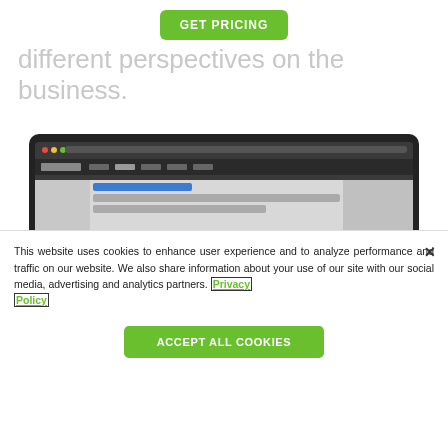[Figure (screenshot): GET PRICING green button at top center of page]
different perspectives on the business.
[Figure (screenshot): Screenshot of a dark-themed web application dashboard with navigation bar, sidebar, and content panels]
This website uses cookies to enhance user experience and to analyze performance and traffic on our website. We also share information about your use of our site with our social media, advertising and analytics partners. Privacy Policy
[Figure (screenshot): Accept All Cookies green button at bottom center]